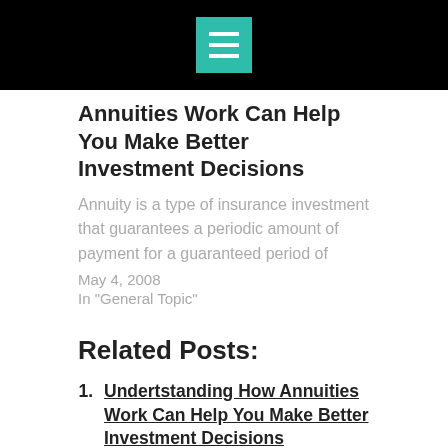Annuities Work Can Help You Make Better Investment Decisions
Annuity is a type of insurance investment that guarantees a periodic amount of payment for a guaranteed period of
May 4, 2008
In "General Topic"
Related Posts:
Undertstanding How Annuities Work Can Help You Make Better Investment Decisions
Four Useful Approaches to Get an Annuity
Important Things You Should Know about Annuities before Making an Investment